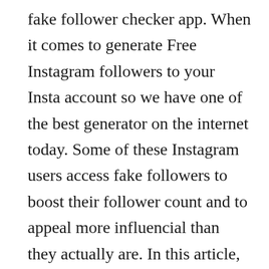fake follower checker app. When it comes to generate Free Instagram followers to your Insta account so we have one of the best generator on the internet today. Some of these Instagram users access fake followers to boost their follower count and to appeal more influencial than they actually are. In this article, I'll be mentioning 4 signs you can use to check whether someone bought or has fake followers on Instagram.. At the end of the article, you should be able to apply this knowledge and detect whether the followers of a particular user are real. Generally, these accounts have been created by an application referred as a ‘bot’ – a piece of software that